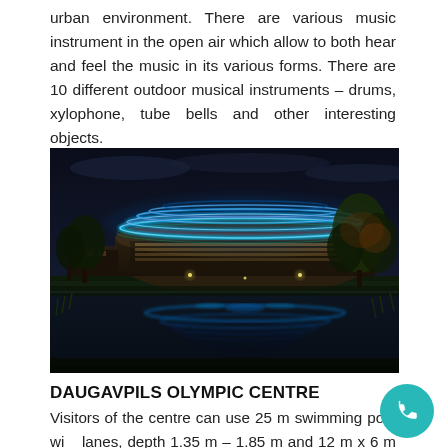urban environment. There are various music instrument in the open air which allow to both hear and feel the music in its various forms. There are 10 different outdoor musical instruments – drums, xylophone, tube bells and other interesting objects.
[Figure (photo): Night photograph of the Daugavpils Olympic Centre building illuminated with blue and white LED lights, reflected in a body of water in the foreground, with trees visible on the sides.]
DAUGAVPILS OLYMPIC CENTRE
Visitors of the centre can use 25 m swimming pool with lanes, depth 1.35 m – 1.85 m and 12 m x 6 m small